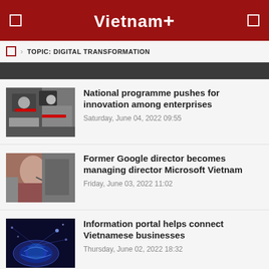Vietnam+
TOPIC: DIGITAL TRANSFORMATION
National programme pushes for innovation among enterprises — Saturday, June 04, 2022 09:55
Former Google director becomes managing director Microsoft Vietnam — Friday, June 03, 2022 11:02
Information portal helps connect Vietnamese businesses — Thursday, June 02, 2022 18:32